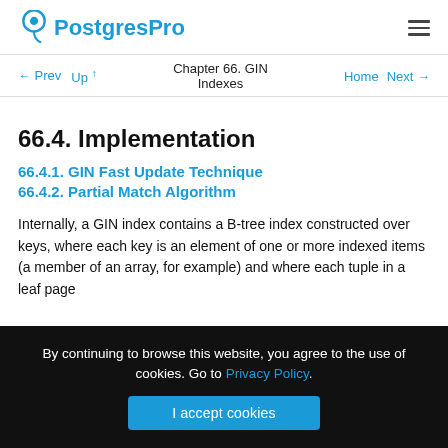[Figure (logo): PostgresPro logo with elephant icon and blue text]
← Prev  Up ↑  Chapter 66. GIN Indexes  Home  Next →
66.4. Implementation
66.4.1. GIN Fast Update Technique
66.4.2. Partial Match Algorithm
Internally, a GIN index contains a B-tree index constructed over keys, where each key is an element of one or more indexed items (a member of an array, for example) and where each tuple in a leaf page
By continuing to browse this website, you agree to the use of cookies. Go to Privacy Policy.